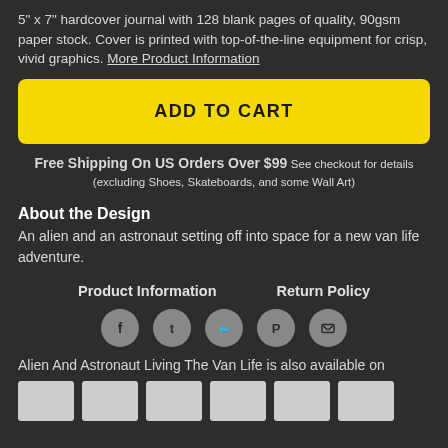5" x 7" hardcover journal with 128 blank pages of quality, 90gsm paper stock. Cover is printed with top-of-the-line equipment for crisp, vivid graphics. More Product Information
ADD TO CART
Free Shipping On US Orders Over $99 See checkout for details (excluding Shoes, Skateboards, and some Wall Art)
About the Design
An alien and an astronaut setting off into space for a new van life adventure.
Product Information    Return Policy
[Figure (other): Row of five circular social media share icons: Facebook, Tumblr, Twitter, Pinterest, Email]
Alien And Astronaut Living The Van Life is also available on
[Figure (other): Row of six small thumbnail images showing product variants]